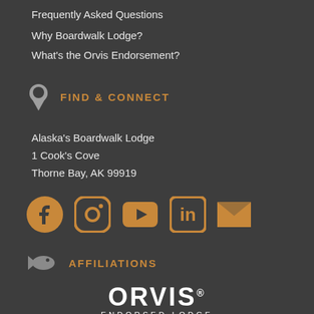Frequently Asked Questions
Why Boardwalk Lodge?
What's the Orvis Endorsement?
FIND & CONNECT
Alaska's Boardwalk Lodge
1 Cook's Cove
Thorne Bay, AK 99919
[Figure (infographic): Social media icons: Facebook, Instagram, YouTube, LinkedIn, Email in golden/amber color]
AFFILIATIONS
[Figure (logo): Orvis Endorsed Lodge logo in white text on dark background]